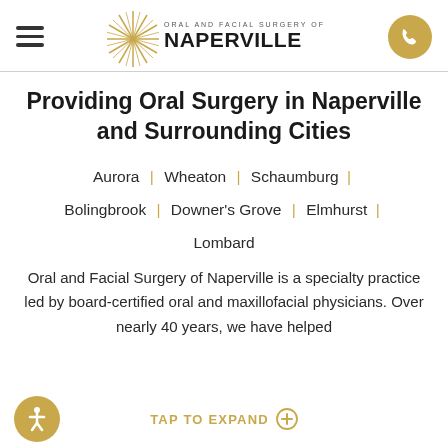[Figure (logo): Oral and Facial Surgery of Naperville logo with starburst/star graphic and text]
Providing Oral Surgery in Naperville and Surrounding Cities
Aurora | Wheaton | Schaumburg | Bolingbrook | Downer's Grove | Elmhurst | Lombard
Oral and Facial Surgery of Naperville is a specialty practice led by board-certified oral and maxillofacial physicians. Over nearly 40 years, we have helped
TAP TO EXPAND